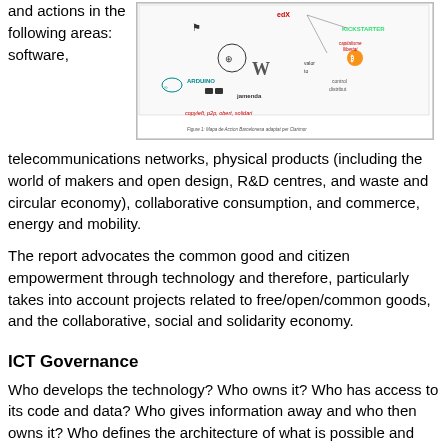and actions in the following areas: software,
[Figure (infographic): Map or diagram showing libre/commons ecosystem with logos including edX, Arduino, Jamendo, and others, with labels like copyleft, p2p, obert, solidari, valor, control, distribut, capitalisme llibertat, Kickstarter. Caption: Figure 1: Mapa de Accion Barcelonesa adaptat per Clarimor]
telecommunications networks, physical products (including the world of makers and open design, R&D centres, and waste and circular economy), collaborative consumption, and commerce, energy and mobility.
The report advocates the common good and citizen empowerment through technology and therefore, particularly takes into account projects related to free/open/common goods, and the collaborative, social and solidarity economy.
ICT Governance
Who develops the technology? Who owns it? Who has access to its code and data? Who gives information away and who then owns it? Who defines the architecture of what is possible and what is not? In the field of digital technologies, the tension between collective production of value and its appropriation by a few companies is central. On the one hand, the original Internet design combined technical, organisational and cultural